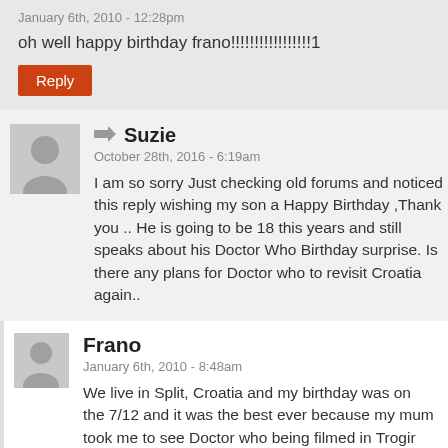January 6th, 2010 - 12:28pm
oh well happy birthday frano!!!!!!!!!!!!!!!!!1
Reply
Suzie
October 28th, 2016 - 6:19am
I am so sorry Just checking old forums and noticed this reply wishing my son a Happy Birthday ,Thank you .. He is going to be 18 this years and still speaks about his Doctor Who Birthday surprise. Is there any plans for Doctor who to revisit Croatia again..
Frano
January 6th, 2010 - 8:48am
We live in Split, Croatia and my birthday was on the 7/12 and it was the best ever because my mum took me to see Doctor who being filmed in Trogir and I got to have my annual sign by a lot of the crew and also had my photo taken with Matt Smith, Amy and some of the crew I will never forget my 11th Birthday .I would like to say a big thank you to all the BBC crew who made it possible for me see and meet Dr Whoo and the crew